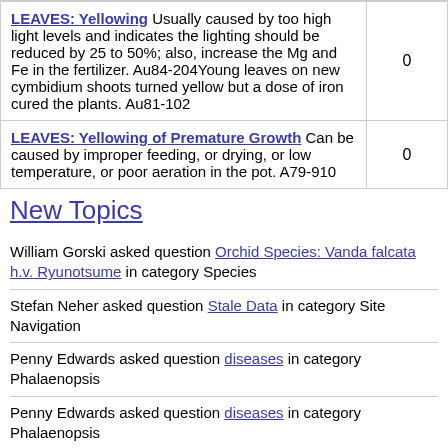| Topic | Count |
| --- | --- |
| LEAVES: Yellowing Usually caused by too high light levels and indicates the lighting should be reduced by 25 to 50%; also, increase the Mg and Fe in the fertilizer. Au84-204Young leaves on new cymbidium shoots turned yellow but a dose of iron cured the plants. Au81-102 | 0 |
| LEAVES: Yellowing of Premature Growth Can be caused by improper feeding, or drying, or low temperature, or poor aeration in the pot. A79-910 | 0 |
New Topics
William Gorski asked question Orchid Species: Vanda falcata h.v. Ryunotsume in category Species
Stefan Neher asked question Stale Data in category Site Navigation
Penny Edwards asked question diseases in category Phalaenopsis
Penny Edwards asked question diseases in category Phalaenopsis
peter teller asked question please help with an id..... in category General Discussion